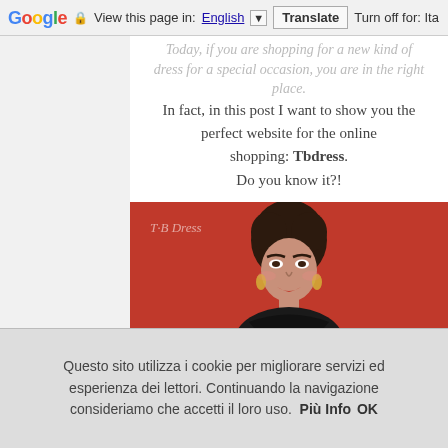Google | View this page in: English [▼] Translate | Turn off for: Ita
Today, if you are shopping for a new kind of dress for a special occasion, you are in the right place.
In fact, in this post I want to show you the perfect website for the online shopping: Tbdress.
Do you know it?!
[Figure (photo): Woman wearing a black lace dress against a red background, with TBdress watermark logo in top left corner]
Questo sito utilizza i cookie per migliorare servizi ed esperienza dei lettori. Continuando la navigazione consideriamo che accetti il loro uso. Più Info OK